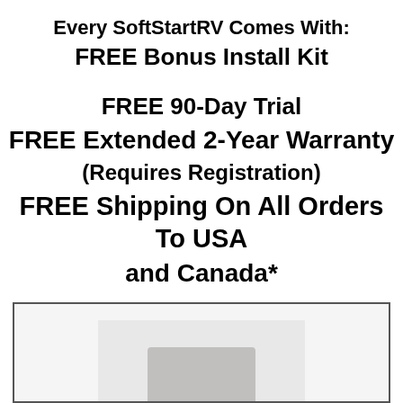Every SoftStartRV Comes With: FREE Bonus Install Kit
FREE 90-Day Trial
FREE Extended 2-Year Warranty
(Requires Registration)
FREE Shipping On All Orders To USA and Canada*
[Figure (photo): Photo of a SoftStartRV device inside a bordered box at the bottom of the page]